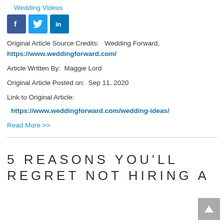Wedding Videos
[Figure (other): Social media sharing icons: Facebook (blue), Twitter (light blue), LinkedIn (dark blue)]
Original Article Source Credits:   Wedding Forward, https://www.weddingforward.com/
Article Written By:  Maggie Lord
Original Article Posted on:  Sep 11, 2020
Link to Original Article:
https://www.weddingforward.com/wedding-ideas/
Read More >>
5 REASONS YOU'LL REGRET NOT HIRING A